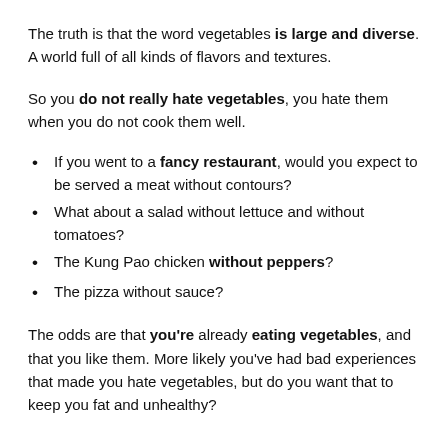The truth is that the word vegetables is large and diverse. A world full of all kinds of flavors and textures.
So you do not really hate vegetables, you hate them when you do not cook them well.
If you went to a fancy restaurant, would you expect to be served a meat without contours?
What about a salad without lettuce and without tomatoes?
The Kung Pao chicken without peppers?
The pizza without sauce?
The odds are that you're already eating vegetables, and that you like them. More likely you've had bad experiences that made you hate vegetables, but do you want that to keep you fat and unhealthy?